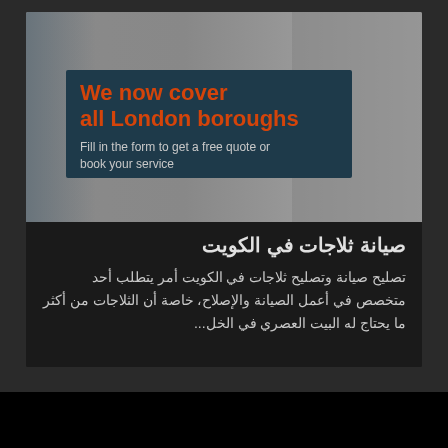[Figure (screenshot): Screenshot of a service advertisement showing a room background with a dark teal overlay box containing orange bold text 'We now cover all London boroughs' and grey subtext 'Fill in the form to get a free quote or book your service']
صيانة ثلاجات في الكويت
تصليح صيانة وتصليح ثلاجات في الكويت أمر يتطلب أحد متخصص في أعمل الصيانة والإصلاح، خاصة أن الثلاجات من أكثر ما يحتاج له البيت العصري في الخل...